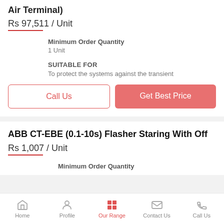Air Terminal)
Rs 97,511 / Unit
Minimum Order Quantity
1 Unit
SUITABLE FOR
To protect the systems against the transient
Call Us
Get Best Price
ABB CT-EBE (0.1-10s) Flasher Staring With Off
Rs 1,007 / Unit
Minimum Order Quantity
Home | Profile | Our Range | Contact Us | Call Us